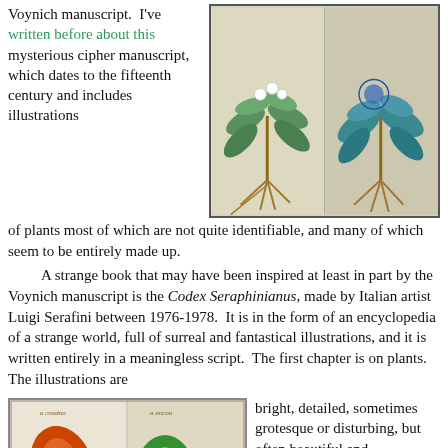Voynich manuscript. I've written before about this mysterious cipher manuscript, which dates to the fifteenth century and includes illustrations of plants most of which are not quite identifiable, and many of which seem to be entirely made up.
[Figure (photo): Two pages from the Voynich manuscript showing fantastical plant illustrations with green leaves and brown roots on aged parchment.]
A strange book that may have been inspired at least in part by the Voynich manuscript is the Codex Seraphinianus, made by Italian artist Luigi Serafini between 1976-1978. It is in the form of an encyclopedia of a strange world, full of surreal and fantastical illustrations, and it is written entirely in a meaningless script. The first chapter is on plants. The illustrations are
[Figure (photo): Two pages from the Codex Seraphinianus showing colorful, surreal plant-like illustrations with fantastical creatures and bright colors.]
bright, detailed, sometimes grotesque or disturbing, but often beautiful and delightfully quirky.